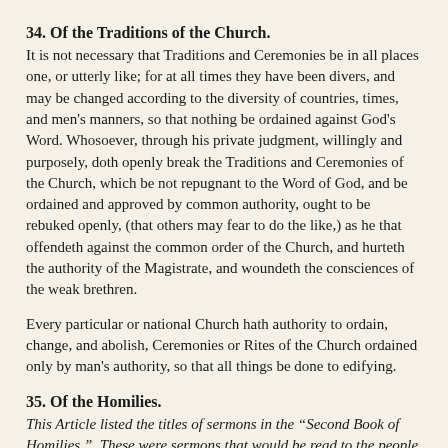34. Of the Traditions of the Church.
It is not necessary that Traditions and Ceremonies be in all places one, or utterly like; for at all times they have been divers, and may be changed according to the diversity of countries, times, and men's manners, so that nothing be ordained against God's Word. Whosoever, through his private judgment, willingly and purposely, doth openly break the Traditions and Ceremonies of the Church, which be not repugnant to the Word of God, and be ordained and approved by common authority, ought to be rebuked openly, (that others may fear to do the like,) as he that offendeth against the common order of the Church, and hurteth the authority of the Magistrate, and woundeth the consciences of the weak brethren.
Every particular or national Church hath authority to ordain, change, and abolish, Ceremonies or Rites of the Church ordained only by man's authority, so that all things be done to edifying.
35. Of the Homilies.
This Article listed the titles of sermons in the “Second Book of Homilies.”  These were sermons that would be read to the people when an ordained minister was not available.